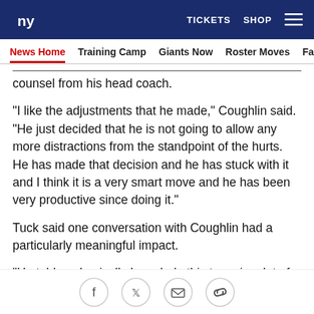NY Giants | TICKETS  SHOP
News Home  Training Camp  Giants Now  Roster Moves  Fact o
counsel from his head coach.
"I like the adjustments that he made," Coughlin said. "He just decided that he is not going to allow any more distractions from the standpoint of the hurts. He has made that decision and he has stuck with it and I think it is a very smart move and he has been very productive since doing it."
Tuck said one conversation with Coughlin had a particularly meaningful impact.
"He told me basically I can help this team in a lot of ways," Tuck said. "He said my influence on this footbal
[Figure (infographic): Social sharing icons: Facebook, Twitter, Email, Link]